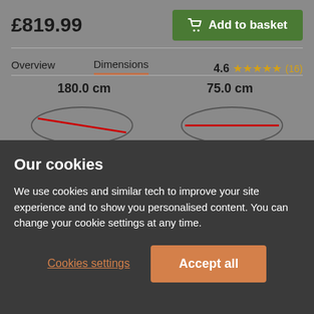£819.99
Add to basket
Overview
Dimensions
4.6 ★★★★★ (16)
180.0 cm
[Figure (illustration): Line drawing of an oval dining table seen from an angle, with a red diagonal line indicating overall width measurement]
Overall width:
75.0 cm
[Figure (illustration): Line drawing of an oval dining table seen from an angle, with a red horizontal line indicating table length before extending]
Table length before extending:
Our cookies
We use cookies and similar tech to improve your site experience and to show you personalised content. You can change your cookie settings at any time.
Cookies settings
Accept all